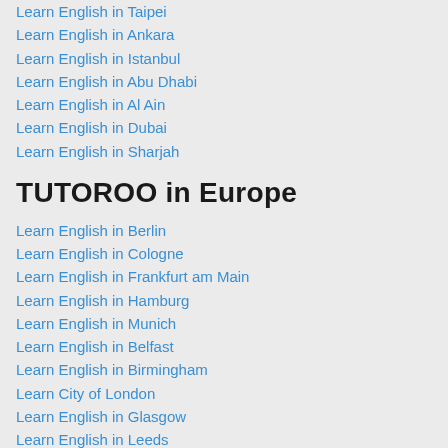Learn English in Taipei
Learn English in Ankara
Learn English in Istanbul
Learn English in Abu Dhabi
Learn English in Al Ain
Learn English in Dubai
Learn English in Sharjah
TUTOROO in Europe
Learn English in Berlin
Learn English in Cologne
Learn English in Frankfurt am Main
Learn English in Hamburg
Learn English in Munich
Learn English in Belfast
Learn English in Birmingham
Learn City of London
Learn English in Glasgow
Learn English in Leeds